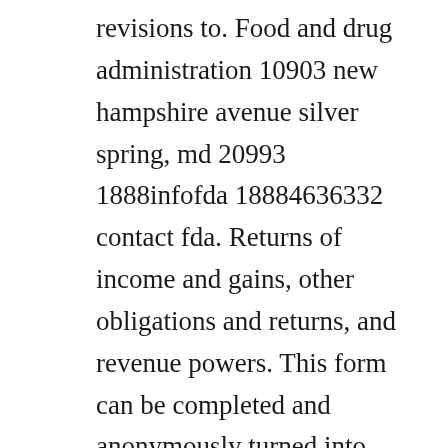revisions to. Food and drug administration 10903 new hampshire avenue silver spring, md 20993 1888infofda 18884636332 contact fda. Returns of income and gains, other obligations and returns, and revenue powers. This form can be completed and anonymously turned into the concerned cat receptacle outside of the guidance office. As a rule of thumb, use guidance2 or hot for less than 8 sequences. The 46g return must be filed with the annual corporation tax or income tax return. The company offers digital forensics, endpoint security analytics, cybersecurity